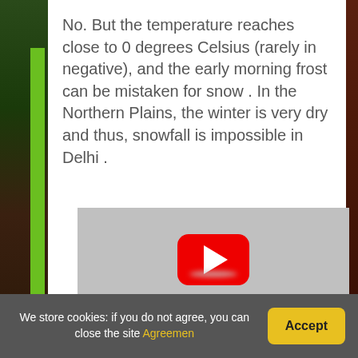No. But the temperature reaches close to 0 degrees Celsius (rarely in negative), and the early morning frost can be mistaken for snow . In the Northern Plains, the winter is very dry and thus, snowfall is impossible in Delhi .
[Figure (screenshot): YouTube video thumbnail placeholder showing a red YouTube play button on a gray background]
We store cookies: if you do not agree, you can close the site Agreemen